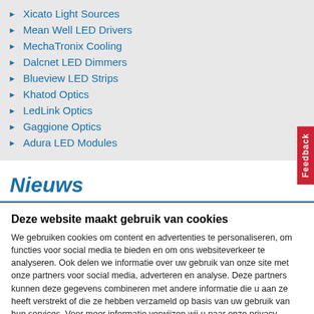Xicato Light Sources
Mean Well LED Drivers
MechaTronix Cooling
Dalcnet LED Dimmers
Blueview LED Strips
Khatod Optics
LedLink Optics
Gaggione Optics
Adura LED Modules
Nieuws
Deze website maakt gebruik van cookies
We gebruiken cookies om content en advertenties te personaliseren, om functies voor social media te bieden en om ons websiteverkeer te analyseren. Ook delen we informatie over uw gebruik van onze site met onze partners voor social media, adverteren en analyse. Deze partners kunnen deze gegevens combineren met andere informatie die u aan ze heeft verstrekt of die ze hebben verzameld op basis van uw gebruik van hun services. Voor meer informatie verwijzen wij u naar onze privacy verklaring.
OK
Details tonen